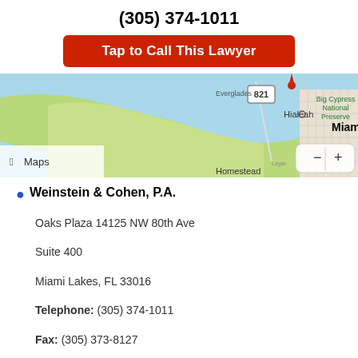(305) 374-1011
Tap to Call This Lawyer
[Figure (map): Apple Maps screenshot showing South Florida area including Everglades, Big Cypress National Preserve, Hialeah, Miami, and Homestead]
Weinstein & Cohen, P.A.
Oaks Plaza 14125 NW 80th Ave
Suite 400
Miami Lakes, FL 33016
Telephone: (305) 374-1011
Fax: (305) 373-8127
| Day | Hours |
| --- | --- |
| Monday: | 9 AM - 5 PM |
| Tuesday: | 9 AM - 5 PM |
| Wednesday: | 9 AM - 5 PM |
| Thursday: | 9 AM - 5 PM |
| Friday: | 9 AM - 5 PM |